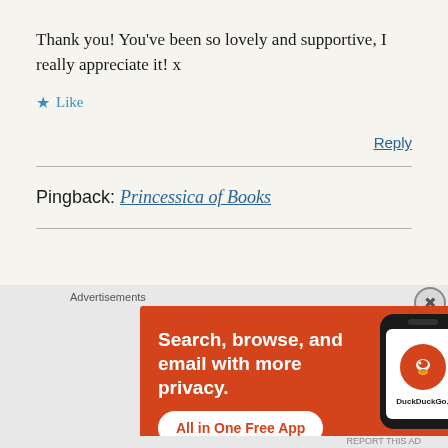Thank you! You've been so lovely and supportive, I really appreciate it! x
★ Like
Reply
Pingback: Princessica of Books
[Figure (screenshot): DuckDuckGo advertisement banner with orange background. Text reads 'Search, browse, and email with more privacy. All in One Free App' with a phone illustration showing the DuckDuckGo app icon and logo.]